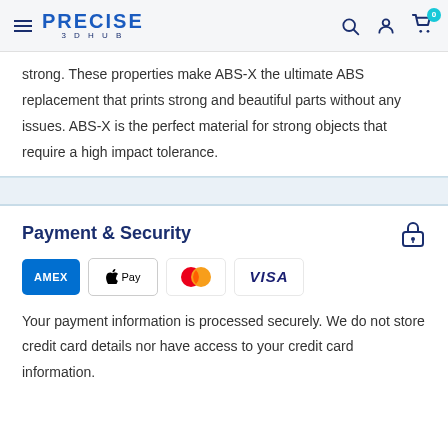PRECISE 3DHUB — navigation header with search, account, and cart icons
strong. These properties make ABS-X the ultimate ABS replacement that prints strong and beautiful parts without any issues. ABS-X is the perfect material for strong objects that require a high impact tolerance.
Payment & Security
[Figure (logo): Payment method logos: American Express (AMEX), Apple Pay, Mastercard, Visa]
Your payment information is processed securely. We do not store credit card details nor have access to your credit card information.